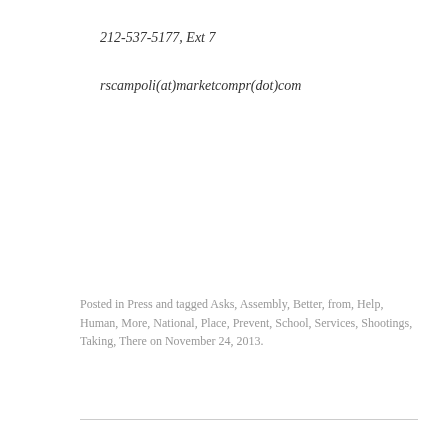212-537-5177, Ext 7
rscampoli(at)marketcompr(dot)com
Posted in Press and tagged Asks, Assembly, Better, from, Help, Human, More, National, Place, Prevent, School, Services, Shootings, Taking, There on November 24, 2013.